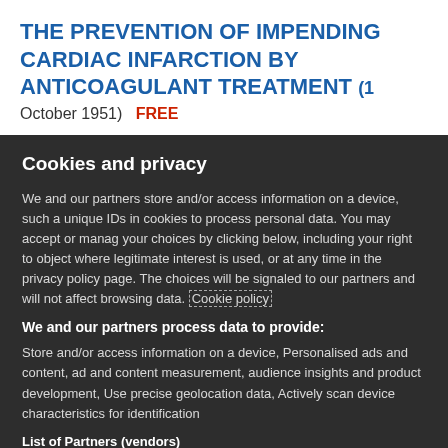THE PREVENTION OF IMPENDING CARDIAC INFARCTION BY ANTICOAGULANT TREATMENT (1 October 1951)  FREE
Cookies and privacy
We and our partners store and/or access information on a device, such as unique IDs in cookies to process personal data. You may accept or manage your choices by clicking below, including your right to object where legitimate interest is used, or at any time in the privacy policy page. These choices will be signaled to our partners and will not affect browsing data. Cookie policy
We and our partners process data to provide:
Store and/or access information on a device, Personalised ads and content, ad and content measurement, audience insights and product development, Use precise geolocation data, Actively scan device characteristics for identification
List of Partners (vendors)
I Accept